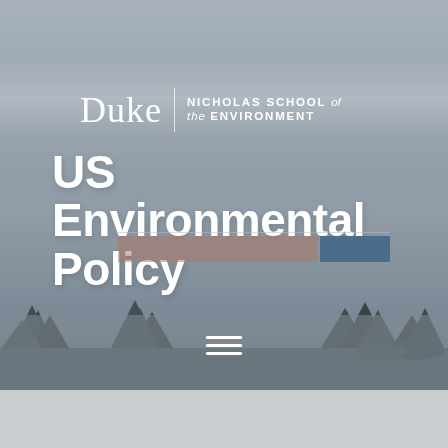[Figure (photo): Landscape background photo showing a misty/cloudy sky with tree silhouettes and mountains, muted blue-gray tones overlaid with semi-transparent gray]
Duke | NICHOLAS SCHOOL of the ENVIRONMENT
US Environmental Policy